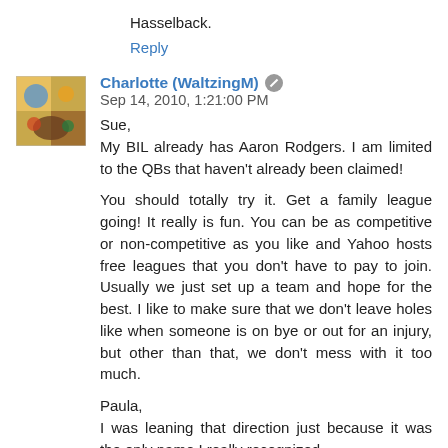Hasselback.
Reply
Charlotte (WaltzingM)  Sep 14, 2010, 1:21:00 PM
Sue,
My BIL already has Aaron Rodgers. I am limited to the QBs that haven't already been claimed!

You should totally try it. Get a family league going! It really is fun. You can be as competitive or non-competitive as you like and Yahoo hosts free leagues that you don't have to pay to join. Usually we just set up a team and hope for the best. I like to make sure that we don't leave holes like when someone is on bye or out for an injury, but other than that, we don't mess with it too much.

Paula,
I was leaning that direction just because it was the only name I really recognized.
Reply